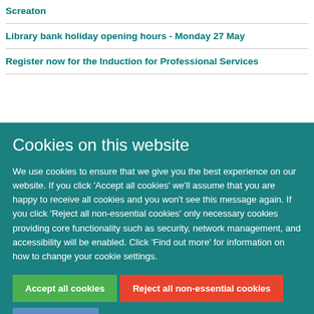Screaton
Library bank holiday opening hours - Monday 27 May
Register now for the Induction for Professional Services
Cookies on this website
We use cookies to ensure that we give you the best experience on our website. If you click 'Accept all cookies' we'll assume that you are happy to receive all cookies and you won't see this message again. If you click 'Reject all non-essential cookies' only necessary cookies providing core functionality such as security, network management, and accessibility will be enabled. Click 'Find out more' for information on how to change your cookie settings.
Accept all cookies
Reject all non-essential cookies
Find out more